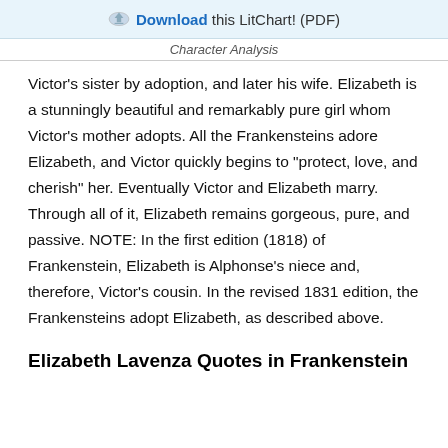Download this LitChart! (PDF)
Character Analysis
Victor's sister by adoption, and later his wife. Elizabeth is a stunningly beautiful and remarkably pure girl whom Victor's mother adopts. All the Frankensteins adore Elizabeth, and Victor quickly begins to "protect, love, and cherish" her. Eventually Victor and Elizabeth marry. Through all of it, Elizabeth remains gorgeous, pure, and passive. NOTE: In the first edition (1818) of Frankenstein, Elizabeth is Alphonse's niece and, therefore, Victor's cousin. In the revised 1831 edition, the Frankensteins adopt Elizabeth, as described above.
Elizabeth Lavenza Quotes in Frankenstein